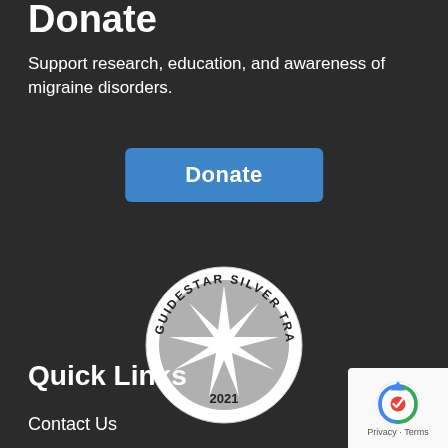Donate
Support research, education, and awareness of migraine disorders.
[Figure (other): Blue Donate button]
[Figure (other): GuideStar Silver Transparency 2021 seal/badge — a circular gray and white badge with a starburst logo in the center and text reading GUIDESTAR SILVER TRANSPARENCY around the top and 2021 at the bottom]
Quick Links
Contact Us
[Figure (other): reCAPTCHA badge in bottom right corner showing the reCAPTCHA logo with Privacy and Terms links]